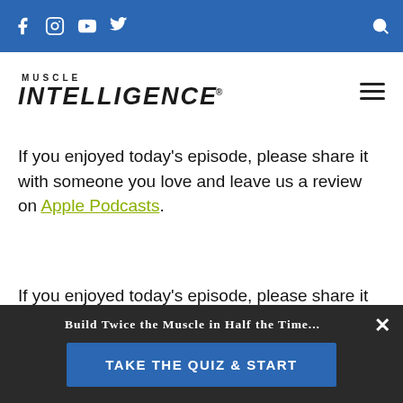Navigation bar with social icons (Facebook, Instagram, YouTube, Twitter) and search icon on blue background
[Figure (logo): Muscle Intelligence logo — MUSCLE in small caps above INTELLIGENCE in large bold italic letters]
If you enjoyed today's episode, please share it with someone you love and leave us a review on Apple Podcasts.
If you enjoyed today's episode, please share it with someone you love and leave us a review on Apple Podcasts. We'd love to hear from you!
Build Twice the Muscle in Half the Time... TAKE THE QUIZ & START